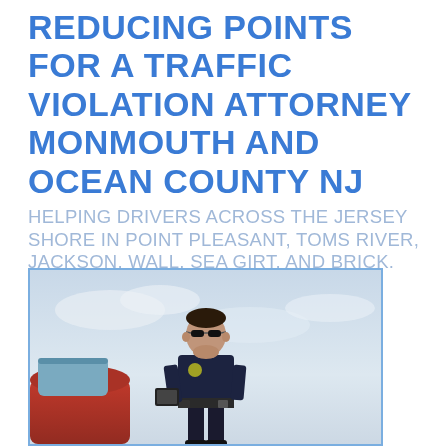REDUCING POINTS FOR A TRAFFIC VIOLATION ATTORNEY MONMOUTH AND OCEAN COUNTY NJ
HELPING DRIVERS ACROSS THE JERSEY SHORE IN POINT PLEASANT, TOMS RIVER, JACKSON, WALL, SEA GIRT, AND BRICK.
[Figure (photo): A police officer in uniform wearing sunglasses, looking down at a notepad or device, standing next to a red car. The background is an overcast sky.]